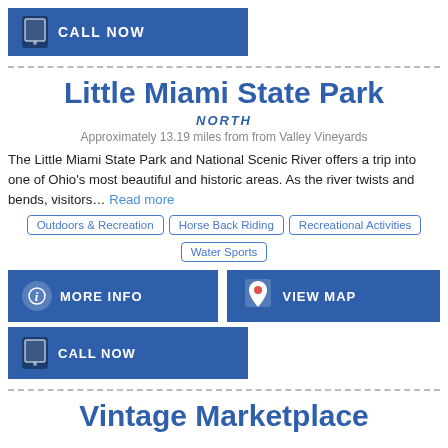[Figure (other): Blue button with phone icon and text CALL NOW]
Little Miami State Park
NORTH
Approximately 13.19 miles from from Valley Vineyards
The Little Miami State Park and National Scenic River offers a trip into one of Ohio's most beautiful and historic areas. As the river twists and bends, visitors... Read more
Outdoors & Recreation
Horse Back Riding
Recreational Activities
Water Sports
[Figure (other): Blue MORE INFO button with info icon]
[Figure (other): Blue VIEW MAP button with map pin icon]
[Figure (other): Blue CALL NOW button with phone icon]
Vintage Marketplace